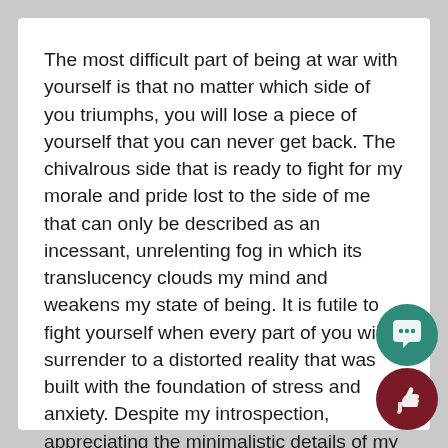The most difficult part of being at war with yourself is that no matter which side of you triumphs, you will lose a piece of yourself that you can never get back. The chivalrous side that is ready to fight for my morale and pride lost to the side of me that can only be described as an incessant, unrelenting fog in which its translucency clouds my mind and weakens my state of being. It is futile to fight yourself when every part of you will surrender to a distorted reality that was built with the foundation of stress and anxiety. Despite my introspection, appreciating the minimalistic details of my life is a difficult feat, and I am rigorously trying to build a better outlook on my surroundings for the betterment of my future.
[Figure (illustration): Two circular UI buttons in the bottom-right corner: a teal circle with a speech bubble / comment icon, and a dark red circle with a thumbs-up icon.]